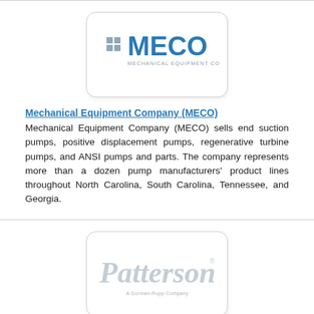[Figure (logo): MECO - Mechanical Equipment Company logo with teal/blue text on white rounded rectangle]
Mechanical Equipment Company (MECO)
Mechanical Equipment Company (MECO) sells end suction pumps, positive displacement pumps, regenerative turbine pumps, and ANSI pumps and parts. The company represents more than a dozen pump manufacturers' product lines throughout North Carolina, South Carolina, Tennessee, and Georgia.
[Figure (logo): Patterson Pump Company logo - italic serif font in light gray on white rounded rectangle with 'A Gorman-Rupp Company' subtitle]
Patterson Pump Company
Patterson offers centrifugal pumps for the HVAC, water and wastewater, fire protection, industrial, flood control and plumbing markets. The company's product line includes mixed and axial flow, fire, end suction, vertical turbine, vertical in-line, solids